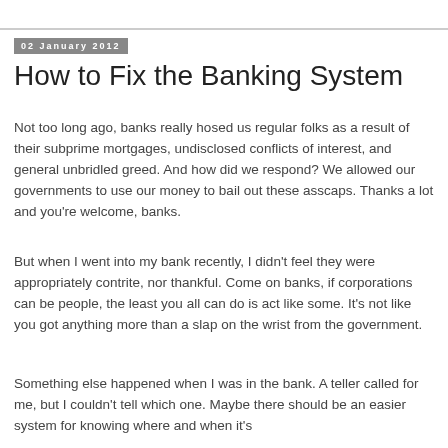02 January 2012
How to Fix the Banking System
Not too long ago, banks really hosed us regular folks as a result of their subprime mortgages, undisclosed conflicts of interest, and general unbridled greed. And how did we respond? We allowed our governments to use our money to bail out these asscaps. Thanks a lot and you're welcome, banks.
But when I went into my bank recently, I didn't feel they were appropriately contrite, nor thankful. Come on banks, if corporations can be people, the least you all can do is act like some. It's not like you got anything more than a slap on the wrist from the government.
Something else happened when I was in the bank. A teller called for me, but I couldn't tell which one. Maybe there should be an easier system for knowing where and when it's your turn at the bank, like a little numbered ticket. And that...